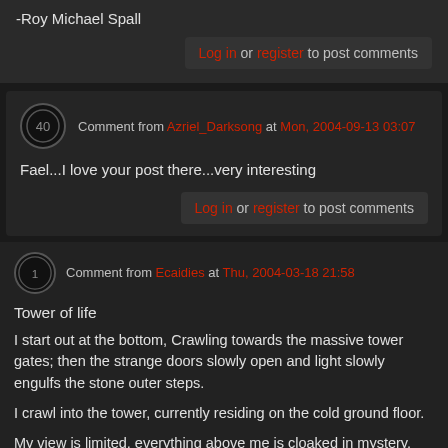-Roy Michael Spall
Log in or register to post comments
Comment from Azriel_Darksong at Mon, 2004-09-13 03:07
Fael...I love your post there...very interesting
Log in or register to post comments
Comment from Ecaidies at Thu, 2004-03-18 21:58
Tower of life
I start out at the bottom, Crawling towards the massive tower gates; then the strange doors slowly open and light slowly engulfs the stone outer steps.
I crawl into the tower, currently residing on the cold ground floor.
My view is limited, everything above me is cloaked in mystery, hidden in darkness, silence and inaccessible.